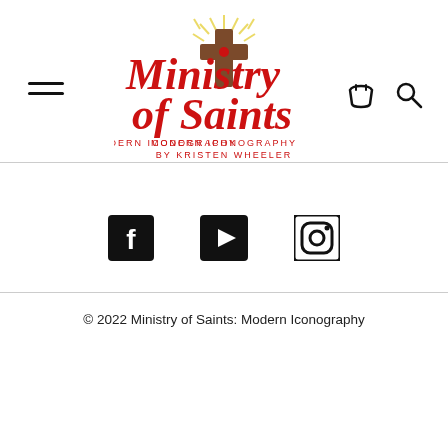[Figure (logo): Ministry of Saints: Modern Iconography by Kristen Wheeler logo with red script text and a decorative cross with sun rays]
[Figure (illustration): Hamburger menu icon (two horizontal lines) on the left side of the header]
[Figure (illustration): Shopping cart icon in the top right of the header]
[Figure (illustration): Search (magnifying glass) icon in the top right of the header]
[Figure (illustration): Three social media icons: Facebook (f), YouTube (play button), Instagram (camera) centered on the page]
© 2022 Ministry of Saints: Modern Iconography